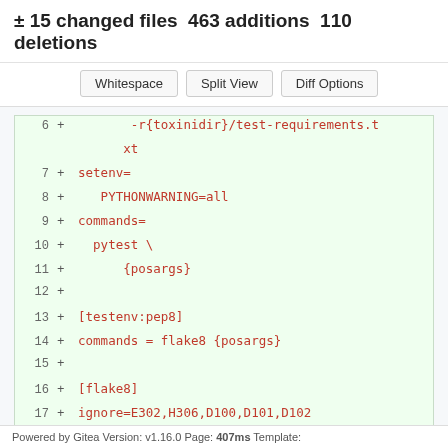± 15 changed files 463 additions 110 deletions
Whitespace | Split View | Diff Options
[Figure (screenshot): Code diff block showing lines 6-17 added (green background), with red monospace text showing tox.ini configuration additions including deps, setenv, PYTHONWARNING=all, commands= pytest \ {posargs}, [testenv:pep8], commands = flake8 {posargs}, [flake8], ignore=E302,H306,D100,D101,D102]
Powered by Gitea Version: v1.16.0 Page: 407ms Template: